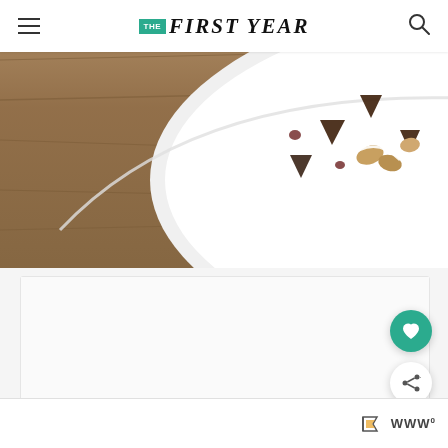THE FIRST YEAR
[Figure (photo): Close-up photo of a white plate on a wooden surface with chocolate chips, nuts, and dried fruit scattered on it]
[Figure (other): Advertisement placeholder box with loading dots indicator]
Ad indicator and share/branding icons at bottom